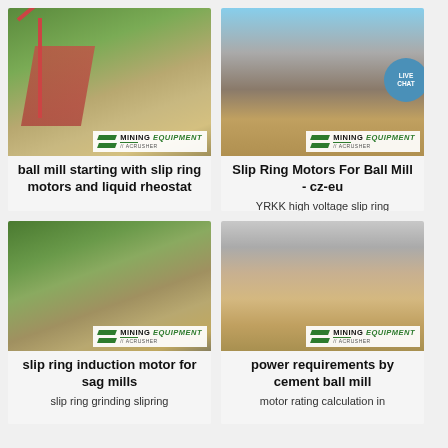[Figure (photo): Mining equipment site with conveyor belt and mountains in background, MINING EQUIPMENT ACRUSHER badge]
ball mill starting with slip ring motors and liquid rheostat
[Figure (photo): Mining/crushing plant aerial view with cone crusher, MINING EQUIPMENT ACRUSHER badge, LIVE CHAT bubble]
Slip Ring Motors For Ball Mill - cz-eu
YRKK high voltage slip ring
[Figure (photo): Mining equipment site with red machinery and mountains, MINING EQUIPMENT ACRUSHER badge]
slip ring induction motor for sag mills
slip ring grinding slipring
[Figure (photo): Open-pit mining quarry site with excavation machinery, MINING EQUIPMENT ACRUSHER badge]
power requirements by cement ball mill
motor rating calculation in